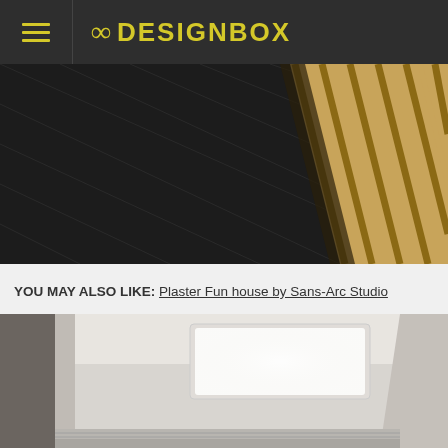8DESIGNBOX
[Figure (photo): Interior design photo showing dark black floor tiles with grid lines and wooden slatted panel/wall on the right side]
YOU MAY ALSO LIKE: Plaster Fun house by Sans-Arc Studio
[Figure (photo): Interior design photo showing a modern room with white walls, a recessed ceiling light panel (skylight-style), and horizontal ribbed wall panels at the bottom]